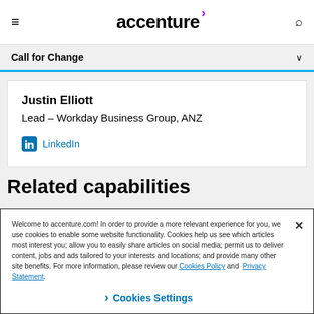accenture
Call for Change
Justin Elliott
Lead – Workday Business Group, ANZ
LinkedIn
Related capabilities
Welcome to accenture.com! In order to provide a more relevant experience for you, we use cookies to enable some website functionality. Cookies help us see which articles most interest you; allow you to easily share articles on social media; permit us to deliver content, jobs and ads tailored to your interests and locations; and provide many other site benefits. For more information, please review our Cookies Policy and Privacy Statement.
Cookies Settings